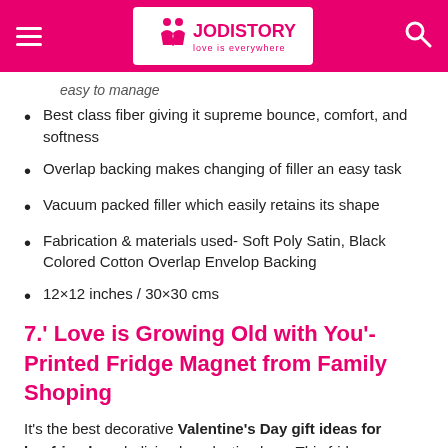JODISTORY – love is everywhere
easy to manage
Best class fiber giving it supreme bounce, comfort, and softness
Overlap backing makes changing of filler an easy task
Vacuum packed filler which easily retains its shape
Fabrication & materials used- Soft Poly Satin, Black Colored Cotton Overlap Envelop Backing
12×12 inches / 30×30 cms
7.' Love is Growing Old with You'- Printed Fridge Magnet from Family Shoping
It's the best decorative Valentine's Day gift ideas for boyfriend symbolizing long-lasting love. This fridge